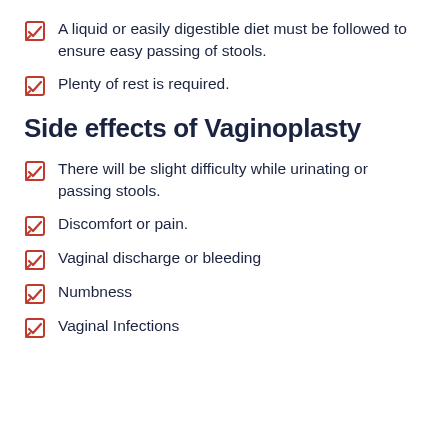A liquid or easily digestible diet must be followed to ensure easy passing of stools.
Plenty of rest is required.
Side effects of Vaginoplasty
There will be slight difficulty while urinating or passing stools.
Discomfort or pain.
Vaginal discharge or bleeding
Numbness
Vaginal Infections